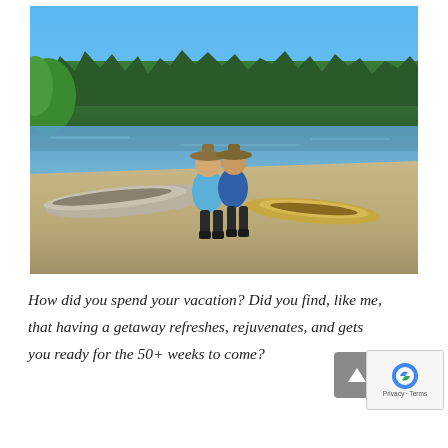[Figure (photo): Two people wearing hats standing on a sandy beach next to a lake, with canoes nearby. Dense green pine forest in the background under a clear blue sky.]
How did you spend your vacation? Did you find, like me, that having a getaway refreshes, rejuvenates, and gets you ready for the 50+ weeks to come?